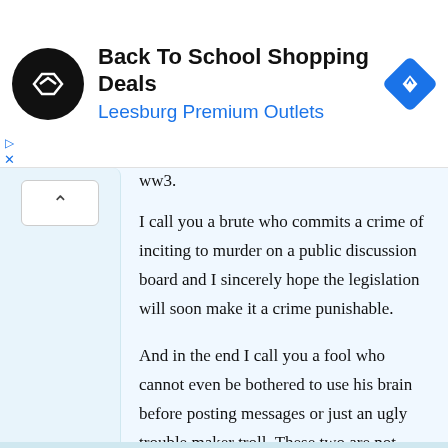[Figure (screenshot): Ad banner for Back To School Shopping Deals at Leesburg Premium Outlets, with circular logo and navigation icon]
ww3.
I call you a brute who commits a crime of inciting to murder on a public discussion board and I sincerely hope the legislation will soon make it a crime punishable.
And in the end I call you a fool who cannot even be bothered to use his brain before posting messages or just an ugly trouble maker troll. These two are not mutually exclusive, though.